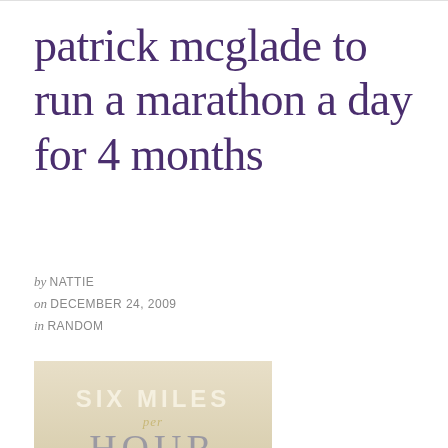patrick mcglade to run a marathon a day for 4 months
by NATTIE
on DECEMBER 24, 2009
in RANDOM
[Figure (photo): Book cover image reading 'SIX MILES per HOUR' with a rural countryside field and treeline in the background, with vintage/sepia tones.]